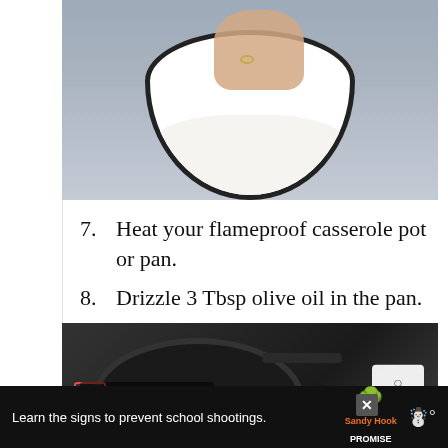[Figure (photo): A hand placing or pressing a piece of raw meat (with bone and fat) into a white bowl filled with white flour, on a light grey surface. Another white bowl is partially visible on the left.]
7. Heat your flameproof casserole pot or pan.
8. Drizzle 3 Tbsp olive oil in the pan.
[Figure (screenshot): A video screenshot showing a black cast iron pan on a stovetop. A white label reads '3 Tbsp olive oil'. A CookGem watermark logo appears in the upper right corner.]
Learn the signs to prevent school shootings.